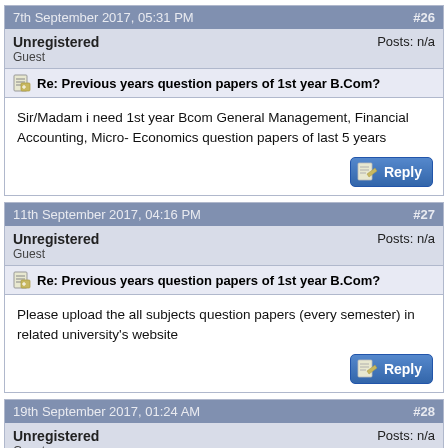7th September 2017, 05:31 PM  #26
Unregistered
Guest
Posts: n/a
Re: Previous years question papers of 1st year B.Com?
Sir/Madam i need 1st year Bcom General Management, Financial Accounting, Micro- Economics question papers of last 5 years
11th September 2017, 04:16 PM  #27
Unregistered
Guest
Posts: n/a
Re: Previous years question papers of 1st year B.Com?
Please upload the all subjects question papers (every semester) in related university's website
19th September 2017, 01:24 AM  #28
Unregistered
Guest
Posts: n/a
Re: Previous years question papers of 1st year B.Com?